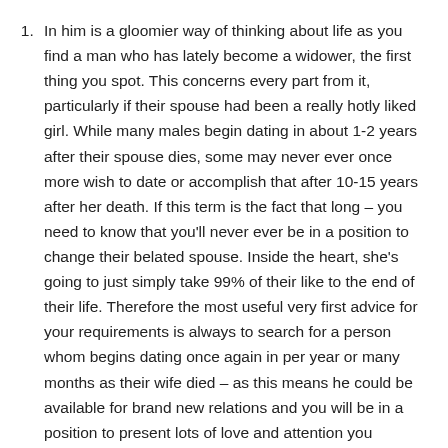In him is a gloomier way of thinking about life as you find a man who has lately become a widower, the first thing you spot. This concerns every part from it, particularly if their spouse had been a really hotly liked girl. While many males begin dating in about 1-2 years after their spouse dies, some may never ever once more wish to date or accomplish that after 10-15 years after her death. If this term is the fact that long – you need to know that you'll never ever be in a position to change their belated spouse. Inside the heart, she's going to just simply take 99% of their like to the end of their life. Therefore the most useful very first advice for your requirements is always to search for a person whom begins dating once again in per year or many months as their wife died – as this means he could be available for brand new relations and you will be in a position to present lots of love and attention you deserve. You shall have an opportunity for a lighter life than with someone who's fiercely longing during